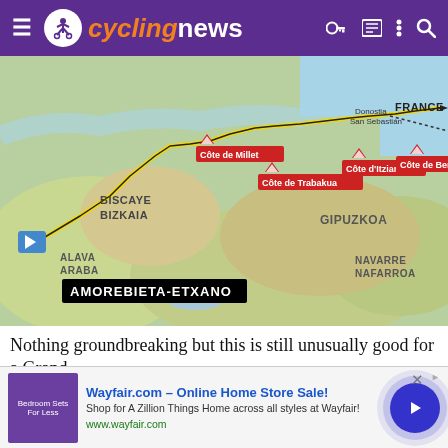cyclingnews
[Figure (map): Route map showing a cycling stage from Amorebieta-Etxano through the Basque Country region of Spain, with yellow route line passing through labeled climbs: Côte de Millet, Côte de Trabakua, Côte d'Itziar, Côte de Benta, finishing near Donostia San Sebastián with FRANCE border visible. Regions labeled: BISCAYE BIZKAIA, GIPUZKOA, ALAVA ARABA, NAVARRE NAFARROA.]
Nothing groundbreaking but this is still unusually good for a Grand
[Figure (screenshot): Advertisement banner for Wayfair.com - Online Home Store Sale! Shop for A Zillion Things Home across all styles at Wayfair! www.wayfair.com with arrow button and bedroom furniture image.]